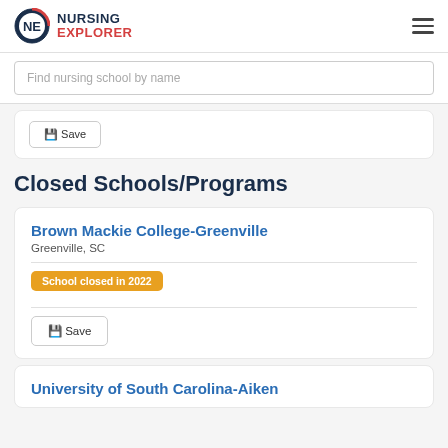NURSING EXPLORER
Find nursing school by name
Closed Schools/Programs
Brown Mackie College-Greenville
Greenville, SC
School closed in 2022
University of South Carolina-Aiken